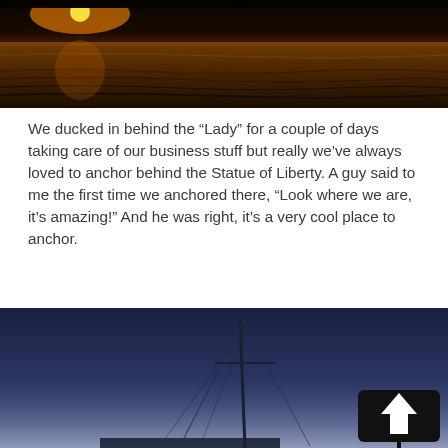[Figure (photo): Sunset over water, orange and golden sky with silhouetted vegetation at top edge, dark rippling water surface]
We ducked in behind the “Lady” for a couple of days taking care of our business stuff but really we’ve always loved to anchor behind the Statue of Liberty. A guy said to me the first time we anchored there, “Look where we are, it’s amazing!” And he was right, it’s a very cool place to anchor.
[Figure (photo): Sailboat mast rigging silhouetted against a deep blue twilight sky, with a dark square arrow sign (white upward arrow on black background) in the lower right corner]